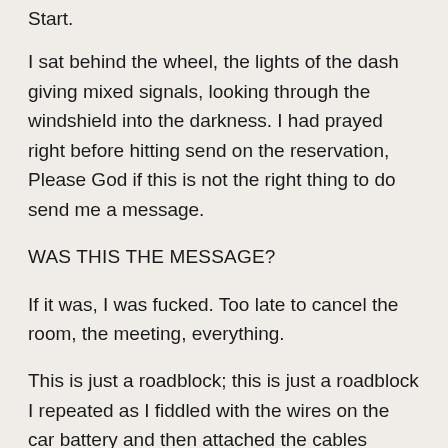Start.
I sat behind the wheel, the lights of the dash giving mixed signals, looking through the windshield into the darkness. I had prayed right before hitting send on the reservation, Please God if this is not the right thing to do send me a message.
WAS THIS THE MESSAGE?
If it was, I was fucked. Too late to cancel the room, the meeting, everything.
This is just a roadblock; this is just a roadblock I repeated as I fiddled with the wires on the car battery and then attached the cables hoping it was that one wire that comes loose from the battery because of the bumpy back country roads. I had been on a lot of them this last week as I was out in the community doing my best to Car-Test our ESL students.